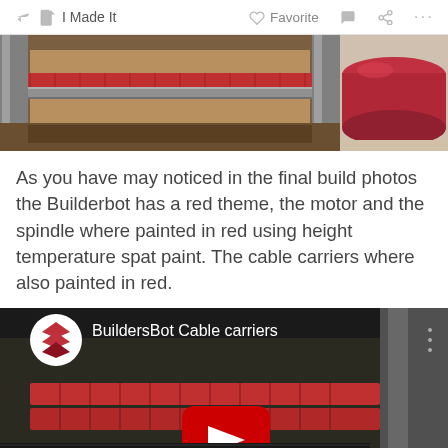I Made It   Favorite   ...
[Figure (photo): Two photos side by side: left shows red cable carriers on a CNC machine frame (metal extrusions), right shows a close-up of a red painted cylindrical part.]
As you have may noticed in the final build photos the Builderbot has a red theme, the motor and the spindle where painted in red using height temperature spat paint. The cable carriers where also painted in red.
[Figure (screenshot): YouTube video thumbnail titled 'BuildersBot Cable carriers' showing red cable carriers on a CNC machine, with YouTube play button overlay and Instructables logo.]